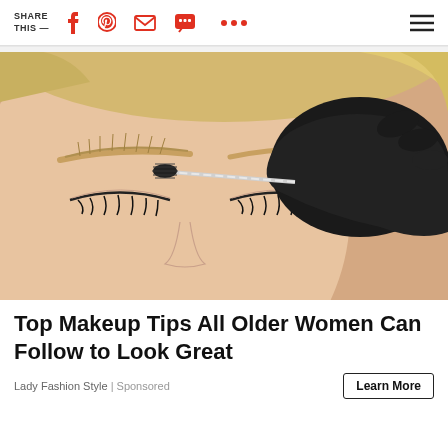SHARE THIS —
[Figure (photo): Close-up of a woman with closed eyes having her eyebrow groomed with a spoolie brush by a gloved hand]
Top Makeup Tips All Older Women Can Follow to Look Great
Lady Fashion Style | Sponsored
Learn More